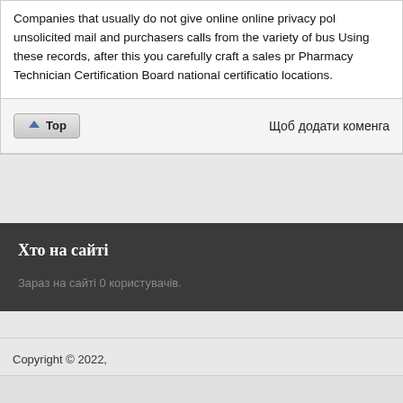Companies that usually do not give online online privacy pol unsolicited mail and purchasers calls from the variety of bus Using these records, after this you carefully craft a sales pr Pharmacy Technician Certification Board national certificatio locations.
Top   Щоб додати коменга
Хто на сайті
Зараз на сайті 0 користувачів.
Copyright © 2022,